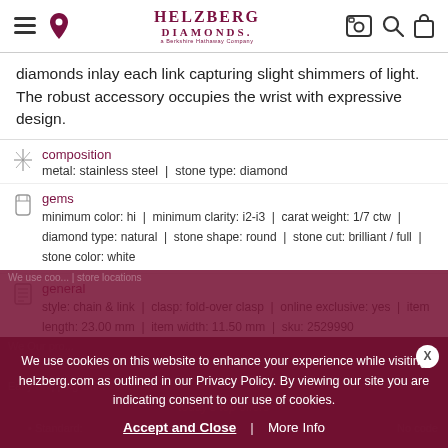Helzberg Diamonds - navigation header with menu, location, logo, camera, search, and bag icons
diamonds inlay each link capturing slight shimmers of light. The robust accessory occupies the wrist with expressive design.
composition
metal: stainless steel | stone type: diamond
gems
minimum color: hi | minimum clarity: i2-i3 | carat weight: 1/7 ctw | diamond type: natural | stone shape: round | stone cut: brilliant / full | stone color: white
general
style: chain & link | clasp: fold-over clasp | online exclusive: yes | item length: 23.00 mm | item width: 11.50 mm | sku: 2529990
We use cookies on this website to enhance your experience while visiting helzberg.com as outlined in our Privacy Policy. By viewing our site you are indicating consent to our use of cookies.
Accept and Close | More Info